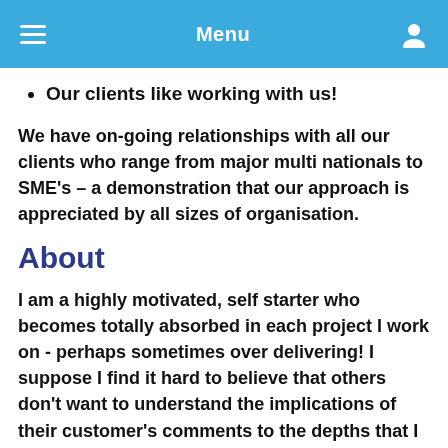Menu
Our clients like working with us!
We have on-going relationships with all our clients who range from major multi nationals to SME's – a demonstration that our approach is appreciated by all sizes of organisation.
About
I am a highly motivated, self starter who becomes totally absorbed in each project I work on - perhaps sometimes over delivering! I suppose I find it hard to believe that others don't want to understand the implications of their customer's comments to the depths that I would like know. When I worked as an